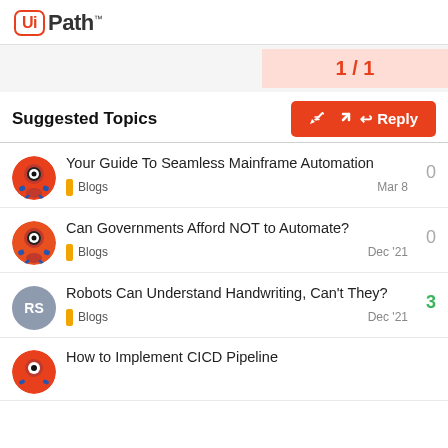[Figure (logo): UiPath logo with orange rounded square icon and bold text]
1 / 1
Reply
Suggested Topics
Your Guide To Seamless Mainframe Automation
Blogs
0
Mar 8
Can Governments Afford NOT to Automate?
Blogs
0
Dec '21
Robots Can Understand Handwriting, Can't They?
Blogs
3
Dec '21
How to Implement CICD Pipeline